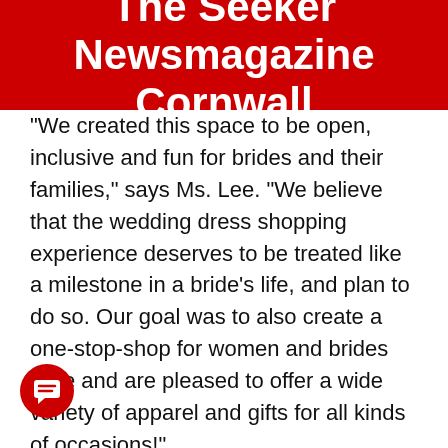The Seeker Newsmagazine Cornwall
"We created this space to be open, inclusive and fun for brides and their families," says Ms. Lee. "We believe that the wedding dress shopping experience deserves to be treated like a milestone in a bride's life, and plan to do so. Our goal was to also create a one-stop-shop for women and brides alike and are pleased to offer a wide variety of apparel and gifts for all kinds of occasions!"
Love and Lee will offer brides-to-be a unique experience, customized to their needs, right here in Cornwall. The bridal boutique will feature designer dresses with a list of exclusive options you would have difficulty finding anywhere else. Brides will also be treated to the entire bridal studio to themselves and their entourage for their appointment. No need to compete for attention from a consultant or to worry